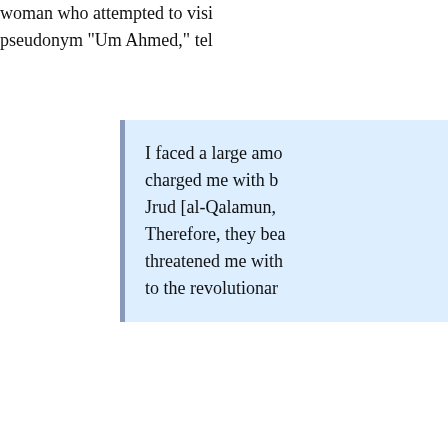woman who attempted to visit him, using the pseudonym “Um Ahmed,” tel…
I faced a large amo… charged me with b… Jrud [al-Qalamun, … Therefore, they bea… threatened me with… to the revolutionar…
Sources in the Yabrud R… administers its own prisons i… and back without Assad regim…
The Syrian Network fo… backed militias in Aleppo Pro… [of] a number of people” was…